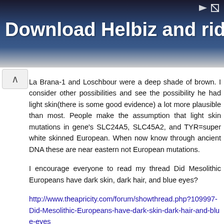[Figure (photo): Advertisement banner with text 'Download Helbiz and ride' over a dark background with a person holding a camera]
La Brana-1 and Loschbour were a deep shade of brown. I consider other possibilities and see the possibility he had light skin(there is some good evidence) a lot more plausible than most. People make the assumption that light skin mutations in gene's SLC24A5, SLC45A2, and TYR=super white skinned European. When now know through ancient DNA these are near eastern not European mutations.
I encourage everyone to read my thread Did Mesolithic Europeans have dark skin, dark hair, and blue eyes?
http://www.theapricity.com/forum/showthread.php?109997-Did-Mesolithic-Europeans-have-dark-skin-dark-hair-and-blue-eyes
The light skin mutation in gene SLC24A5 is as popular in Europeans as it is in west Asians. The light skin mutation in gene SLC45A2 is more popular in Europeans though but